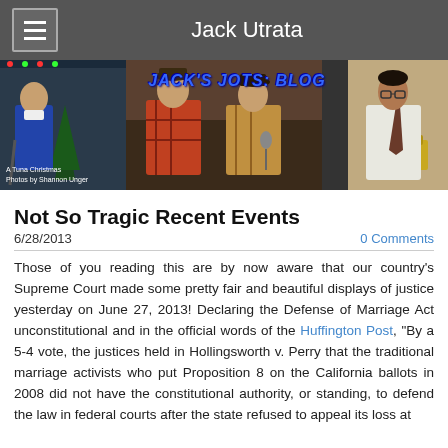Jack Utrata
[Figure (photo): Banner with three theatrical photos side by side. Left: man in blue coat with neck brace and Christmas tree. Center: two actors in western/colorful clothing. Right: man in dress shirt and tie seated. Overlay text reads JACK'S JOTS: BLOG. Bottom-left caption: A Tuna Christmas / Photos by Shannon Unger]
Not So Tragic Recent Events
6/28/2013
0 Comments
Those of you reading this are by now aware that our country's Supreme Court made some pretty fair and beautiful displays of justice yesterday on June 27, 2013! Declaring the Defense of Marriage Act unconstitutional and in the official words of the Huffington Post, "By a 5-4 vote, the justices held in Hollingsworth v. Perry that the traditional marriage activists who put Proposition 8 on the California ballots in 2008 did not have the constitutional authority, or standing, to defend the law in federal courts after the state refused to appeal its loss at